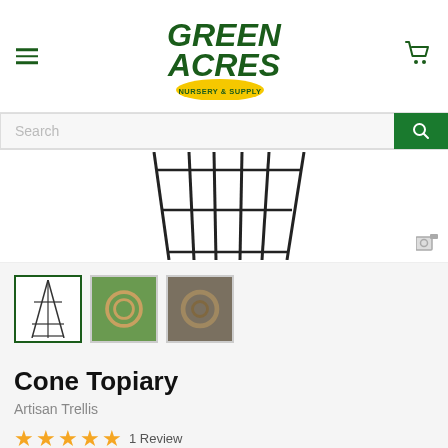[Figure (logo): Green Acres Nursery & Supply logo - green text with yellow oval badge]
Search
[Figure (photo): Cone topiary trellis frame - black metal wire frame showing the lower portion of a cone/pyramid shaped topiary support structure]
[Figure (photo): Three product thumbnails: first selected thumbnail showing cone topiary outline, second showing green trellis with plants, third showing circular ring trellis]
Cone Topiary
Artisan Trellis
1 Review